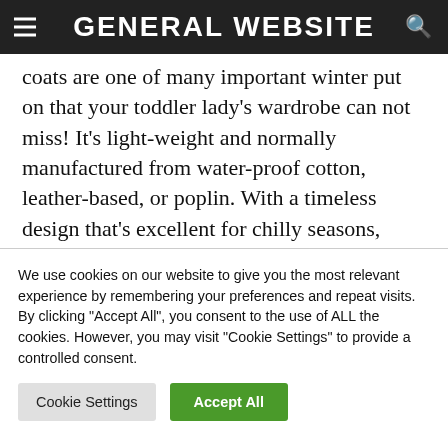GENERAL WEBSITE
coats are one of many important winter put on that your toddler lady’s wardrobe can not miss! It’s light-weight and normally manufactured from water-proof cotton, leather-based, or poplin. With a timeless design that’s excellent for chilly seasons, your daughter can layer it over her summer time clothes throughout early autumn.
See also: Construct a Lady Boss Wardrobe
We use cookies on our website to give you the most relevant experience by remembering your preferences and repeat visits. By clicking “Accept All”, you consent to the use of ALL the cookies. However, you may visit “Cookie Settings” to provide a controlled consent.